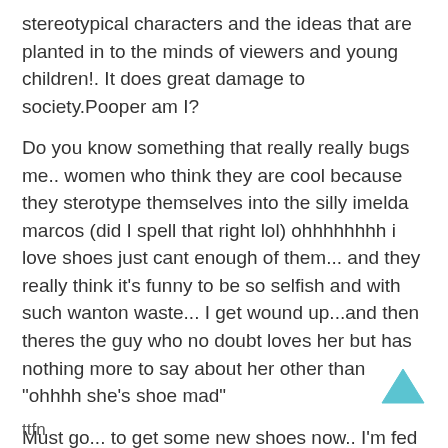stereotypical characters and the ideas that are planted in to the minds of viewers and young children!. It does great damage to society.Pooper am I?
Do you know something that really really bugs me.. women who think they are cool because they sterotype themselves into the silly imelda marcos (did I spell that right lol) ohhhhhhhh i love shoes just cant enough of them... and they really think it’s funny to be so selfish and with such wanton waste... I get wound up...and then theres the guy who no doubt loves her but has nothing more to say about her other than “ohhhh she’s shoe mad”
Must go... to get some new shoes now.. I’m fed up of them.. had them for two weeks and I’ve nothing left to talk about duuuuuh..
ttfn